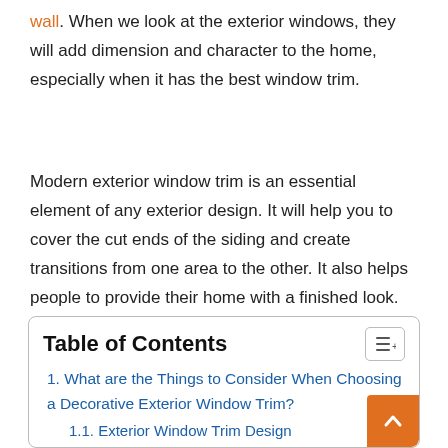wall. When we look at the exterior windows, they will add dimension and character to the home, especially when it has the best window trim.
Modern exterior window trim is an essential element of any exterior design. It will help you to cover the cut ends of the siding and create transitions from one area to the other. It also helps people to provide their home with a finished look. You should implement such outdoor window trim that matches the design of the house, all while highlighting the windows.
Table of Contents
1. What are the Things to Consider When Choosing a Decorative Exterior Window Trim?
1.1. Exterior Window Trim Design